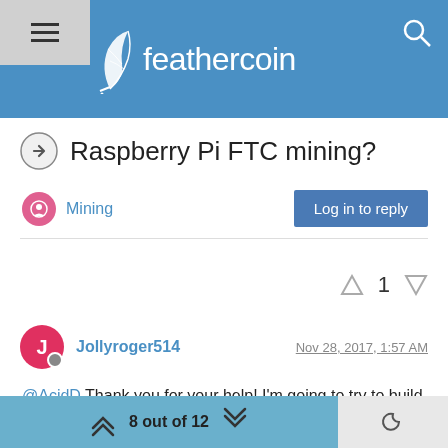feathercoin
Raspberry Pi FTC mining?
Mining
Log in to reply
1
Jollyroger514  Nov 28, 2017, 1:57 AM
@AcidD Thank you for your help! I'm going to try to build it.
8 out of 12